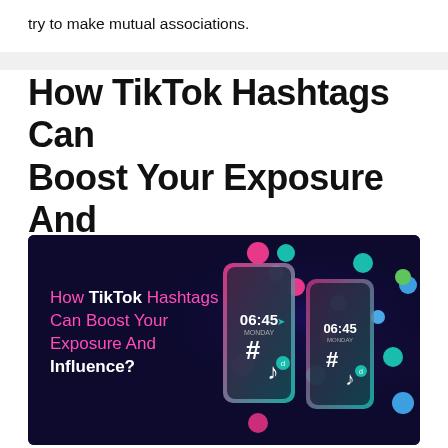try to make mutual associations.
How TikTok Hashtags Can Boost Your Exposure And Influence?
[Figure (illustration): Dark navy background promotional image showing two smartphone mockups with TikTok-themed design elements including hashtag symbols, TikTok logos, colorful floating balls in pink, teal, blue and green. Text overlay reads: 'How TikTok Hashtags Can Boost Your Exposure And Influence?' with pink and white colored text.]